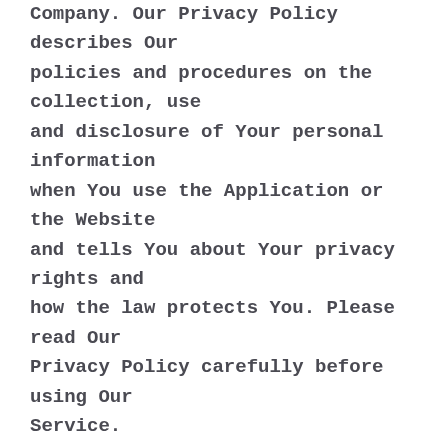Company. Our Privacy Policy describes Our policies and procedures on the collection, use and disclosure of Your personal information when You use the Application or the Website and tells You about Your privacy rights and how the law protects You. Please read Our Privacy Policy carefully before using Our Service.
Links to Other Websites
Our Service may contain links to third-party web sites or services that are not owned or controlled by the Company.